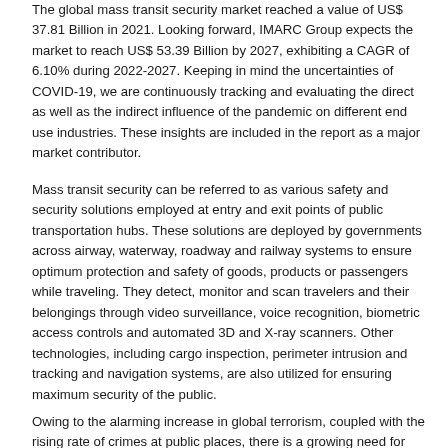The global mass transit security market reached a value of US$ 37.81 Billion in 2021. Looking forward, IMARC Group expects the market to reach US$ 53.39 Billion by 2027, exhibiting a CAGR of 6.10% during 2022-2027. Keeping in mind the uncertainties of COVID-19, we are continuously tracking and evaluating the direct as well as the indirect influence of the pandemic on different end use industries. These insights are included in the report as a major market contributor.
Mass transit security can be referred to as various safety and security solutions employed at entry and exit points of public transportation hubs. These solutions are deployed by governments across airway, waterway, roadway and railway systems to ensure optimum protection and safety of goods, products or passengers while traveling. They detect, monitor and scan travelers and their belongings through video surveillance, voice recognition, biometric access controls and automated 3D and X-ray scanners. Other technologies, including cargo inspection, perimeter intrusion and tracking and navigation systems, are also utilized for ensuring maximum security of the public.
Owing to the alarming increase in global terrorism, coupled with the rising rate of crimes at public places, there is a growing need for